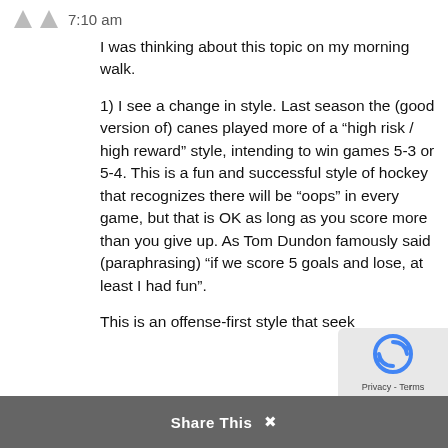7:10 am
I was thinking about this topic on my morning walk.
1) I see a change in style. Last season the (good version of) canes played more of a “high risk / high reward” style, intending to win games 5-3 or 5-4. This is a fun and successful style of hockey that recognizes there will be “oops” in every game, but that is OK as long as you score more than you give up. As Tom Dundon famously said (paraphrasing) “if we score 5 goals and lose, at least I had fun”.
This is an offense-first style that seek
Share This